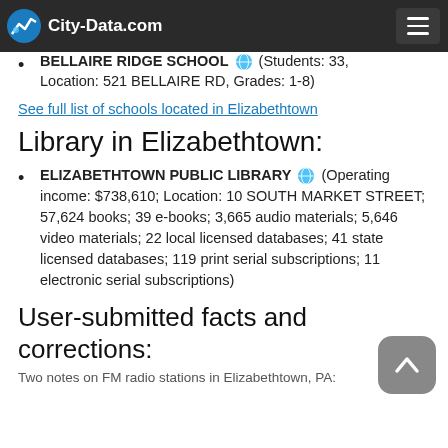City-Data.com
ST PETER PAROCHIAL SCHOOL (Students: 65, ... HINGTON ST, Grades: PK-5)
BELLAIRE RIDGE SCHOOL (Students: 33, Location: 521 BELLAIRE RD, Grades: 1-8)
See full list of schools located in Elizabethtown
Library in Elizabethtown:
ELIZABETHTOWN PUBLIC LIBRARY (Operating income: $738,610; Location: 10 SOUTH MARKET STREET; 57,624 books; 39 e-books; 3,665 audio materials; 5,646 video materials; 22 local licensed databases; 41 state licensed databases; 119 print serial subscriptions; 11 electronic serial subscriptions)
User-submitted facts and corrections:
Two notes on FM radio stations in Elizabethtown, PA: